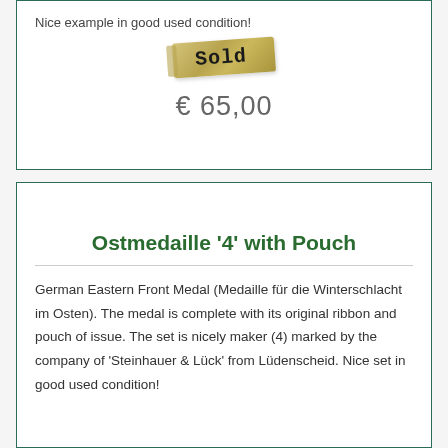Nice example in good used condition!
[Figure (illustration): A sold banner/tag with torn tape appearance, showing the word 'Sold' in bold monospace font on a golden/beige background, slightly rotated.]
€ 65,00
Ostmedaille '4' with Pouch
German Eastern Front Medal (Medaille für die Winterschlacht im Osten). The medal is complete with its original ribbon and pouch of issue. The set is nicely maker (4) marked by the company of 'Steinhauer & Lück' from Lüdenscheid. Nice set in good used condition!